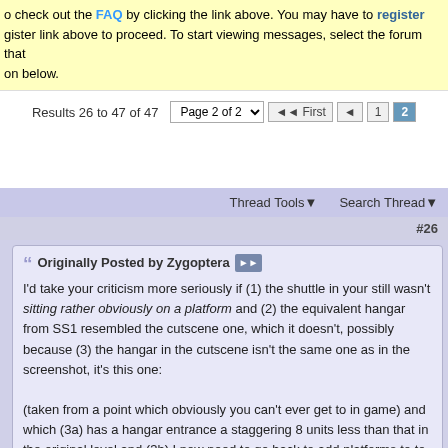o check out the FAQ by clicking the link above. You may have to register
gister link above to proceed. To start viewing messages, select the forum that
on below.
Results 26 to 47 of 47   Page 2 of 2   First   1  2
Thread Tools   Search Thread
#26
Originally Posted by Zygoptera
I'd take your criticism more seriously if (1) the shuttle in your still wasn't sitting rather obviously on a platform and (2) the equivalent hangar from SS1 resembled the cutscene one, which it doesn't, possibly because (3) the hangar in the cutscene isn't the same one as in the screenshot, it's this one:

(taken from a point which obviously you can't ever get to in game) and which (3a) has a hangar entrance a staggering 8 units less than that in the original level and (3b) I now need to go back to add platforms to to make it match the cutscene...